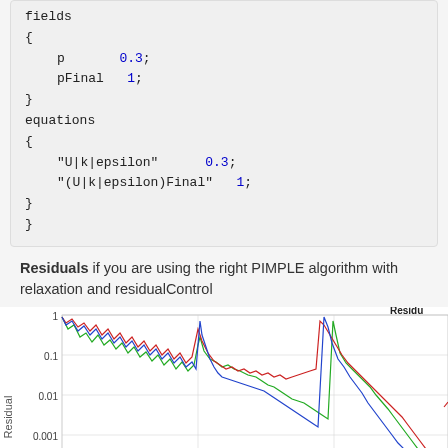fields
{
    p       0.3;
    pFinal  1;
}
equations
{
    "U|k|epsilon"        0.3;
    "(U|k|epsilon)Final"  1;
}
}
Residuals if you are using the right PIMPLE algorithm with relaxation and residualControl
[Figure (continuous-plot): Residual plot showing convergence over iterations with three lines (red, green, blue) on a logarithmic y-axis. Y-axis labeled 'Residual' with values 1, 0.1, 0.01, 0.001. Lines show periodic spikes and decreasing trends. Title 'Residu...' visible at top right.]